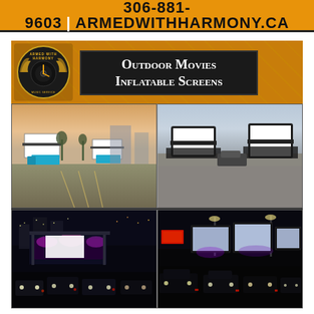306-881-9603 | armedwithharmony.ca
[Figure (infographic): Armed With Harmony outdoor movies and inflatable screens promotional collage. Top section has orange background with company logo (Armed With Harmony Music Service) on left and dark title box reading 'Outdoor Movies Inflatable Screens' on right. Below are four photos arranged in 2x2 grid: top-left shows daytime parking lot with two inflatable screens and trucks; top-right shows daytime lot with two black inflatable screens; bottom-left shows nighttime drive-in with cars and illuminated stage/screen; bottom-right shows nighttime drive-in with cars and multiple screens lit up.]